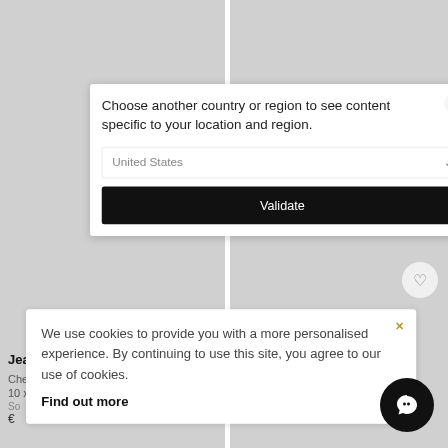[Figure (screenshot): Website screenshot showing a country/region selection modal dialog with 'United States' dropdown and 'Validate' button, overlaid on an art gallery product listing page. A cookie consent banner appears at the bottom.]
Choose another country or region to see content specific to your location and region.
United States
Validate
Jean
Cheval et cavalier Français, 19...
10 x 21 x 19 cm
Rhino Art Brut – S, 2022
25 x 15 x 8 cm
We use cookies to provide you with a more personalised experience. By continuing to use this site, you agree to our use of cookies.
Find out more